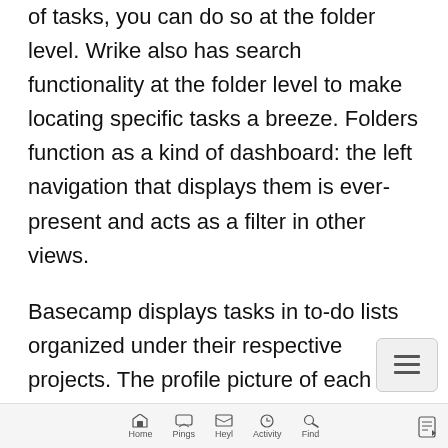of tasks, you can do so at the folder level. Wrike also has search functionality at the folder level to make locating specific tasks a breeze. Folders function as a kind of dashboard: the left navigation that displays them is ever-present and acts as a filter in other views.
Basecamp displays tasks in to-do lists organized under their respective projects. The profile picture of each person assigned to the task is displayed next to the task name, with the task itself next to a checkbox signifying if it's complete or not.
Home  Pings  Heyl  Activity  Find